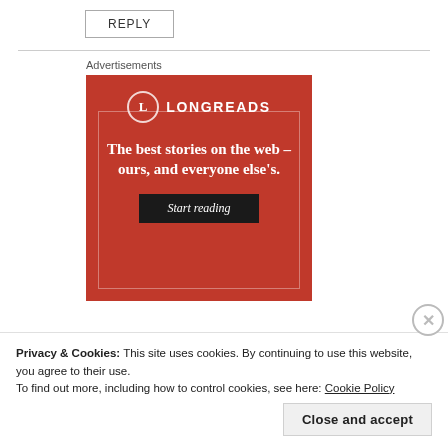REPLY
[Figure (infographic): Longreads advertisement on red background with logo, tagline 'The best stories on the web – ours, and everyone else's.' and a 'Start reading' button]
Advertisements
Privacy & Cookies: This site uses cookies. By continuing to use this website, you agree to their use.
To find out more, including how to control cookies, see here: Cookie Policy
Close and accept